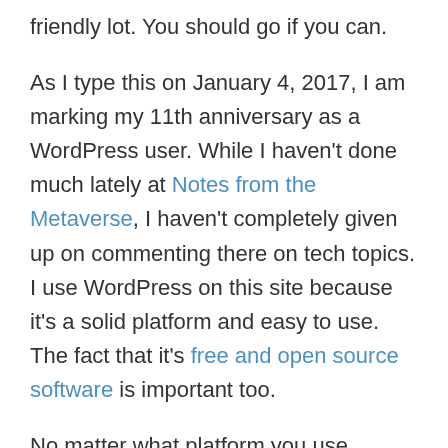friendly lot. You should go if you can.
As I type this on January 4, 2017, I am marking my 11th anniversary as a WordPress user. While I haven't done much lately at Notes from the Metaverse, I haven't completely given up on commenting there on tech topics. I use WordPress on this site because it's a solid platform and easy to use. The fact that it's free and open source software is important too.
No matter what platform you use, whether you build your site like I have, or hire someone to do it, the real question for every writer is whether you have a place where every bit of content is there because you want it there. And you can keep that content (or toss it) as you wish.
I like Medium, both as a reader and a writer. Heck, you